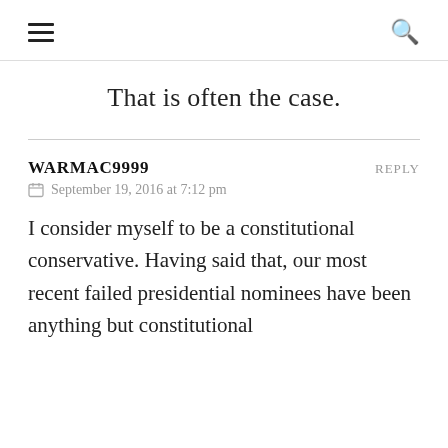≡  🔍
That is often the case.
WARMAC9999   REPLY
📅 September 19, 2016 at 7:12 pm
I consider myself to be a constitutional conservative. Having said that, our most recent failed presidential nominees have been anything but constitutional